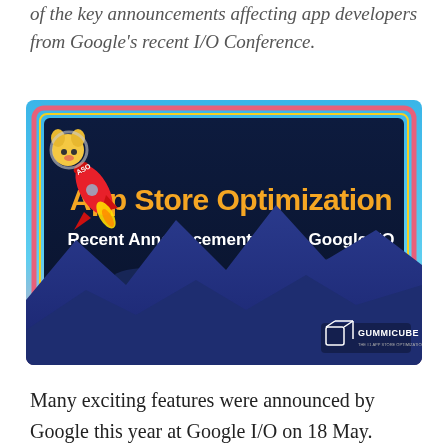of the key announcements affecting app developers from Google's recent I/O Conference.
[Figure (illustration): Banner image for App Store Optimization article. Dark navy background with orange and white text reading 'App Store Optimization - Recent Announcements from Google I/O'. Features a cartoon dog riding a rocket in the top left, stylized mountain silhouettes in blue at the bottom, and a Gummicube logo in the bottom right. Overall banner has a gradient blue background with a pink/orange rectangular border around the dark center panel.]
Many exciting features were announced by Google this year at Google I/O on 18 May. Among these developments, there are four key changes concerning the Google Play Store that are particularly relevant to app developers and